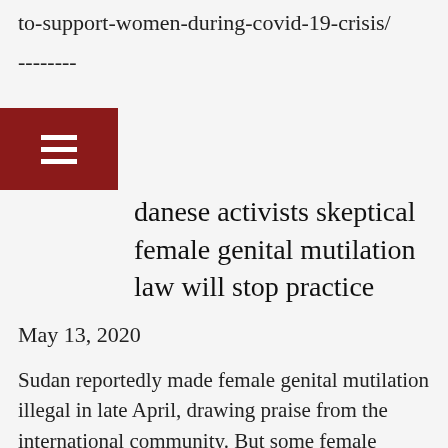to-support-women-during-covid-19-crisis/
--------
Sudanese activists skeptical female genital mutilation law will stop practice
May 13, 2020
Sudan reportedly made female genital mutilation illegal in late April, drawing praise from the international community. But some female activists in the African country say this will not lead to the end of the harmful practice.
One Sudanese leader of a civil society organization working for women’s rights said that the state is duping the outside world on the issue